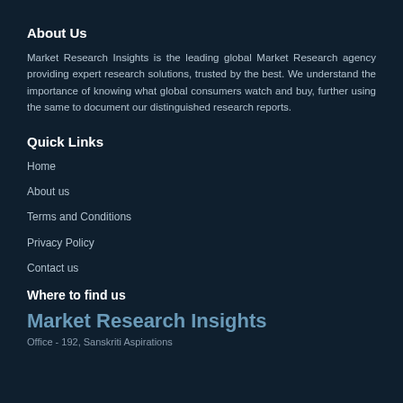About Us
Market Research Insights is the leading global Market Research agency providing expert research solutions, trusted by the best. We understand the importance of knowing what global consumers watch and buy, further using the same to document our distinguished research reports.
Quick Links
Home
About us
Terms and Conditions
Privacy Policy
Contact us
Where to find us
Market Research Insights
Office - 192, Sanskriti Aspirations